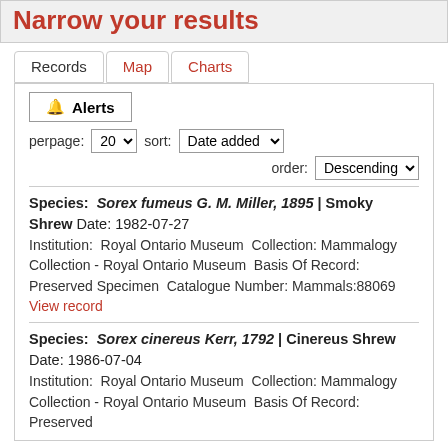Narrow your results
Records | Map | Charts
🔔 Alerts
perpage: 20  sort: Date added
order: Descending
Species: Sorex fumeus G. M. Miller, 1895 | Smoky Shrew Date: 1982-07-27
Institution: Royal Ontario Museum Collection: Mammalogy Collection - Royal Ontario Museum  Basis Of Record: Preserved Specimen  Catalogue Number: Mammals:88069  View record
Species: Sorex cinereus Kerr, 1792 | Cinereus Shrew Date: 1986-07-04
Institution: Royal Ontario Museum Collection: Mammalogy Collection - Royal Ontario Museum  Basis Of Record: Preserved